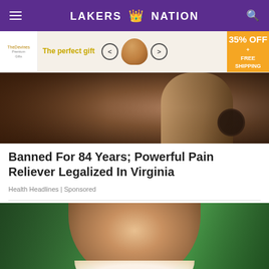LAKERS NATION
[Figure (photo): Advertisement banner: 'The perfect gift' with food bowl image, arrows, and '35% OFF + FREE SHIPPING' offer]
[Figure (photo): Photo of a person's back/neck area in dark tones]
Banned For 84 Years; Powerful Pain Reliever Legalized In Virginia
Health Headlines | Sponsored
[Figure (photo): Photo of a smiling woman with dark hair against a green leafy background]